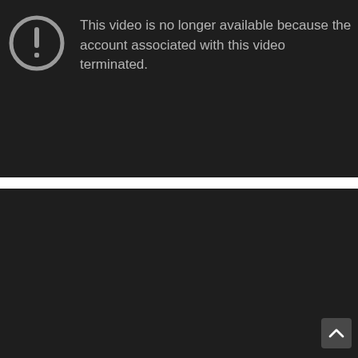[Figure (screenshot): YouTube 'Video unavailable' error screen (top, cropped). Dark background with a grey exclamation-mark-in-circle icon on the left and grey text: 'This video is no longer available because the account associated with this video has been terminated.']
[Figure (screenshot): YouTube 'Video unavailable' error screen (bottom). Dark background with a grey exclamation-mark-in-circle icon. Title: 'Video unavailable'. Body text: 'This video is no longer available because the account associated with this video has been terminated.' A scroll-up arrow button overlays the bottom-right corner.]